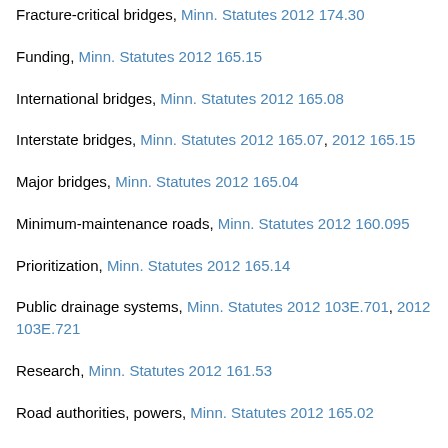Fracture-critical bridges, Minn. Statutes 2012 174.30
Funding, Minn. Statutes 2012 165.15
International bridges, Minn. Statutes 2012 165.08
Interstate bridges, Minn. Statutes 2012 165.07, 2012 165.15
Major bridges, Minn. Statutes 2012 165.04
Minimum-maintenance roads, Minn. Statutes 2012 160.095
Prioritization, Minn. Statutes 2012 165.14
Public drainage systems, Minn. Statutes 2012 103E.701, 2012 103E.721
Research, Minn. Statutes 2012 161.53
Road authorities, powers, Minn. Statutes 2012 165.02
Rustic roads, road authorities, duties, Minn. Statutes 2012